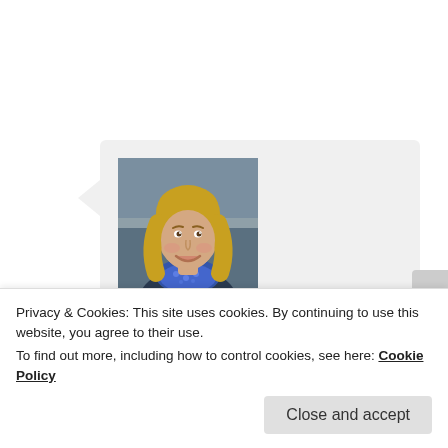[Figure (photo): Profile photo of a blonde woman smiling, wearing a blue patterned scarf, appears to be an avatar/profile picture for a blog comment]
Meghan @ fitnesscrEATures on January 2, 2014 at 11:53 pm said:
I LOVE fit gifts! Last year was the beginning of people realizing that's all I want and I ended up with a Garmin… HURRAH! Cute Nike patterned top girly! And my man has the fitbit flex and we
Privacy & Cookies: This site uses cookies. By continuing to use this website, you agree to their use.
To find out more, including how to control cookies, see here: Cookie Policy
Close and accept